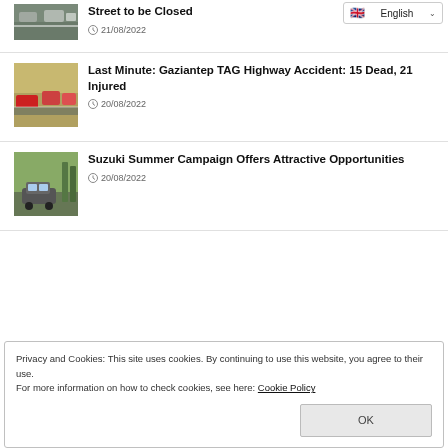[Figure (photo): Road with cars, partial view, news thumbnail]
Street to be Closed
21/08/2022
[Figure (other): English language dropdown selector]
[Figure (photo): Highway accident scene with emergency vehicles]
Last Minute: Gaziantep TAG Highway Accident: 15 Dead, 21 Injured
20/08/2022
[Figure (photo): Suzuki SUV car driving on road]
Suzuki Summer Campaign Offers Attractive Opportunities
20/08/2022
Privacy and Cookies: This site uses cookies. By continuing to use this website, you agree to their use.
For more information on how to check cookies, see here: Cookie Policy